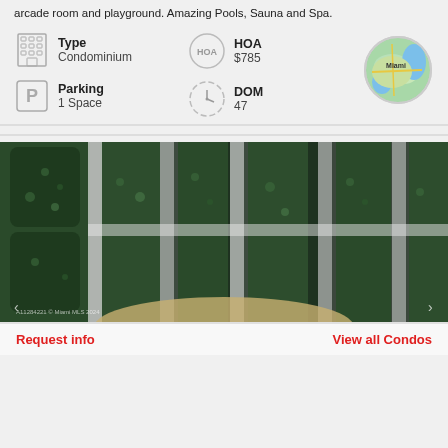arcade room and playground. Amazing Pools, Sauna and Spa.
Type
Condominium
HOA
$785
Parking
1 Space
DOM
47
[Figure (map): Circular map thumbnail showing Miami, Florida area]
[Figure (photo): Exterior photo of a building with green ivy-covered walls and white structural columns, looking up from below]
Request info
View all Condos